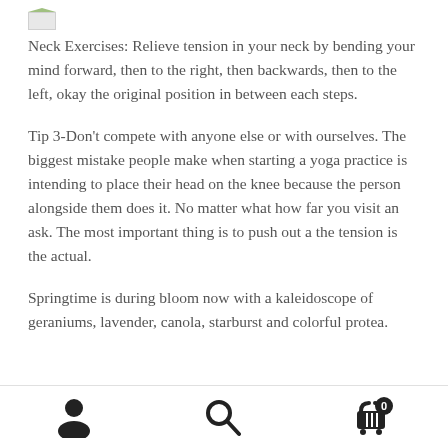[Figure (logo): Small logo image in top left corner]
Neck Exercises: Relieve tension in your neck by bending your mind forward, then to the right, then backwards, then to the left, okay the original position in between each steps.
Tip 3-Don't compete with anyone else or with ourselves. The biggest mistake people make when starting a yoga practice is intending to place their head on the knee because the person alongside them does it. No matter what how far you visit an ask. The most important thing is to push out a the tension is the actual.
Springtime is during bloom now with a kaleidoscope of geraniums, lavender, canola, starburst and colorful protea.
Navigation bar with person icon, search icon, and cart icon with badge 0